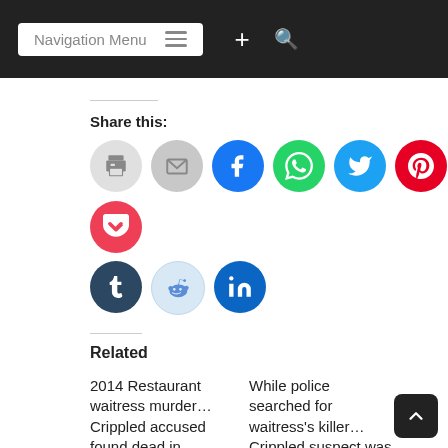Navigation Menu
Share this:
[Figure (other): Social share icon buttons: Print, Email, Facebook, WhatsApp, Twitter, Pinterest, Pocket, Tumblr, Reddit, LinkedIn]
Related
2014 Restaurant waitress murder… Crippled accused found dead in Lusignan Prison
August 23, 2017
While police searched for waitress's killer… Crippled suspect was attending court on robbery charge